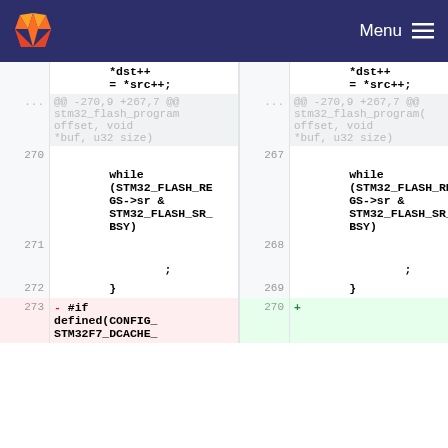GitLab Menu
[Figure (screenshot): GitLab diff view showing code comparison with line numbers 270-273 on left and 267-270 on right. Shows a while loop with STM32_FLASH_REGS->sr & STM32_FLASH_SR_BSY condition, followed by semicolon and closing brace. Last row shows a deletion of #if defined(CONFIG_STM32F7_DCACHE_ on line 273 and an addition marker on line 270.]